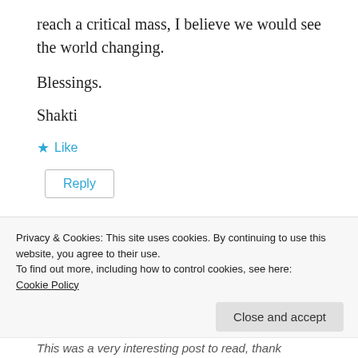reach a critical mass, I believe we would see the world changing.
Blessings.
Shakti
★ Like
Reply
Privacy & Cookies: This site uses cookies. By continuing to use this website, you agree to their use.
To find out more, including how to control cookies, see here:
Cookie Policy
Close and accept
This was a very interesting post to read, thank